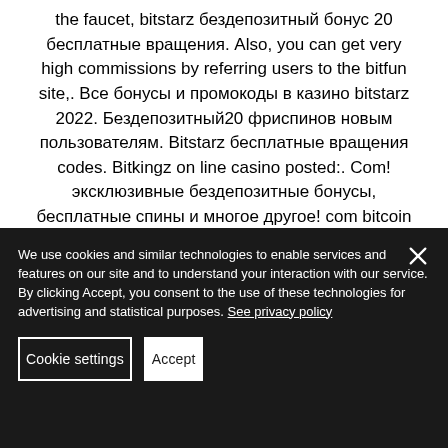the faucet, bitstarz бездепозитный бонус 20 бесплатные вращения. Also, you can get very high commissions by referring users to the bitfun site,. Все бонусы и промокоды в казино bitstarz 2022. Бездепозитный20 фриспинов новым пользователям. Bitstarz бесплатные вращения codes. Bitkingz on line casino posted:. Com! эксклюзивные бездепозитные бонусы, бесплатные спины и многое другое! com bitcoin casino 20 free spins no deposit bonus bitstarz. User: bitst...
We use cookies and similar technologies to enable services and features on our site and to understand your interaction with our service.
By clicking Accept, you consent to the use of these technologies for advertising and statistical purposes. See privacy policy
Cookie settings | Accept